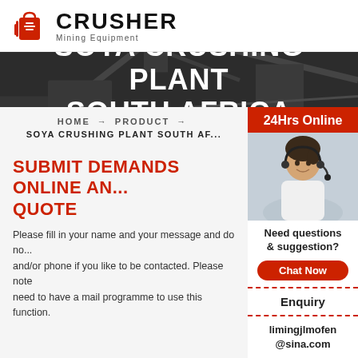[Figure (logo): Crusher Mining Equipment logo with red shopping bag icon with speed lines and bold black CRUSHER text with Mining Equipment subtitle]
[Figure (photo): Hero banner with dark industrial mining/crushing plant machinery background with white bold text: SOYA CRUSHING PLANT SOUTH AFRICA]
HOME → PRODUCT → SOYA CRUSHING PLANT SOUTH AFRICA
SUBMIT DEMANDS ONLINE AND GET QUOTE
Please fill in your name and your message and do not forget mail and/or phone if you like to be contacted. Please note that you do not need to have a mail programme to use this function.
[Figure (photo): Sidebar: woman with headset smiling, customer service representative photo]
24Hrs Online
Need questions & suggestion?
Chat Now
Enquiry
limingjlmofen@sina.com